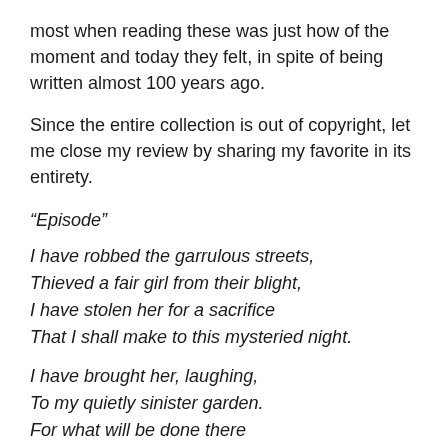most when reading these was just how of the moment and today they felt, in spite of being written almost 100 years ago.
Since the entire collection is out of copyright, let me close my review by sharing my favorite in its entirety.
“Episode”
I have robbed the garrulous streets,
Thieved a fair girl from their blight,
I have stolen her for a sacrifice
That I shall make to this mysteried night.
I have brought her, laughing,
To my quietly sinister garden.
For what will be done there
I ask no man’s pardon.